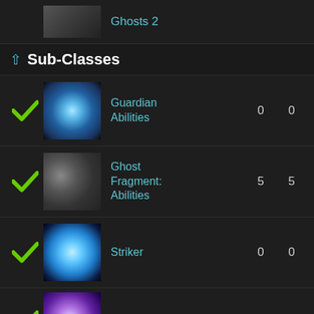[Figure (screenshot): Top partial row showing a thumbnail image and 'Ghosts 2' label in cyan text]
Sub-Classes
Guardian Abilities  0  0
Ghost Fragment: Abilities  5  5
Striker  0  0
Defender  0  0